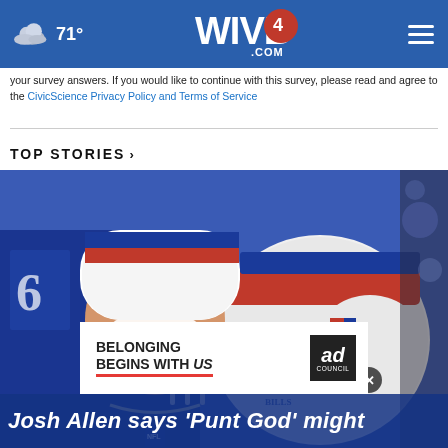71° WIVB4.COM
your survey answers. If you would like to continue with this survey, please read and agree to the CivicScience Privacy Policy and Terms of Service
TOP STORIES ›
[Figure (photo): Buffalo Bills football player in blue jersey and white helmet laughing/celebrating, with another Bills helmet visible in foreground]
Josh Allen says 'Punt God' might...
[Figure (infographic): Ad overlay: BELONGING BEGINS WITH US — Ad Council badge]